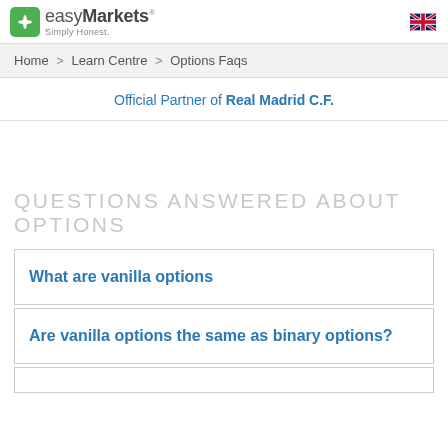easyMarkets Simply Honest.
Home > Learn Centre > Options Faqs
Official Partner of Real Madrid C.F.
QUESTIONS ANSWERED ABOUT OPTIONS
What are vanilla options
Are vanilla options the same as binary options?